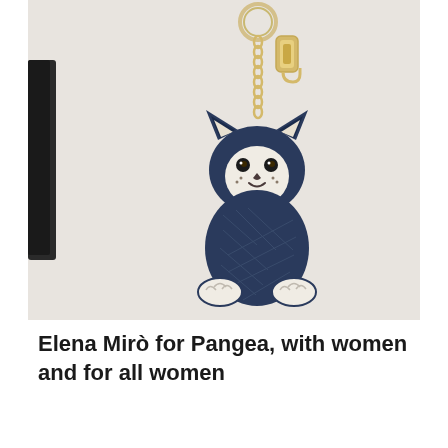[Figure (photo): A leather cat-shaped keychain charm in navy blue and white, hanging from a gold chain and clasp with a round key ring. The cat keychain has pointed ears, a white face with small nose and stitched smile, navy blue body with quilted diamond pattern, and white paw outlines at the bottom. A black leather item is partially visible on the left edge of the image. Background is light gray/beige.]
Elena Mirò for Pangea, with women and for all women